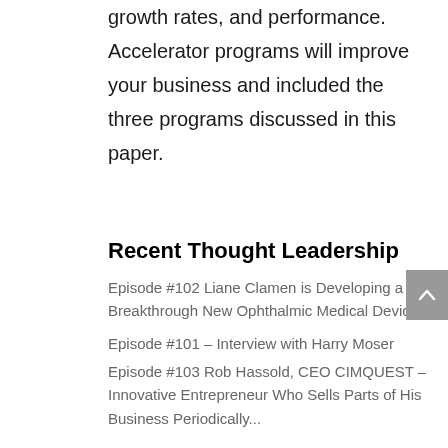growth rates, and performance. Accelerator programs will improve your business and included the three programs discussed in this paper.
Recent Thought Leadership
Episode #102 Liane Clamen is Developing a Breakthrough New Ophthalmic Medical Device
Episode #101 – Interview with Harry Moser
Episode #103 Rob Hassold, CEO CIMQUEST – Innovative Entrepreneur Who Sells Parts of His Business Periodically...